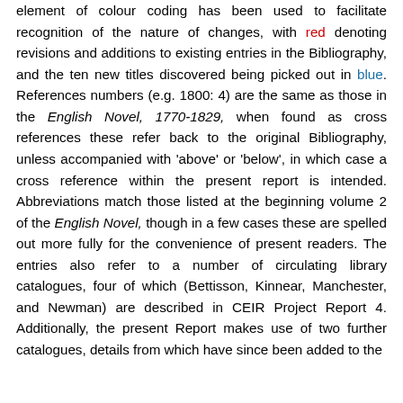element of colour coding has been used to facilitate recognition of the nature of changes, with red denoting revisions and additions to existing entries in the Bibliography, and the ten new titles discovered being picked out in blue. References numbers (e.g. 1800: 4) are the same as those in the English Novel, 1770-1829, when found as cross references these refer back to the original Bibliography, unless accompanied with 'above' or 'below', in which case a cross reference within the present report is intended. Abbreviations match those listed at the beginning volume 2 of the English Novel, though in a few cases these are spelled out more fully for the convenience of present readers. The entries also refer to a number of circulating library catalogues, four of which (Bettisson, Kinnear, Manchester, and Newman) are described in CEIR Project Report 4. Additionally, the present Report makes use of two further catalogues, details from which have since been added to the